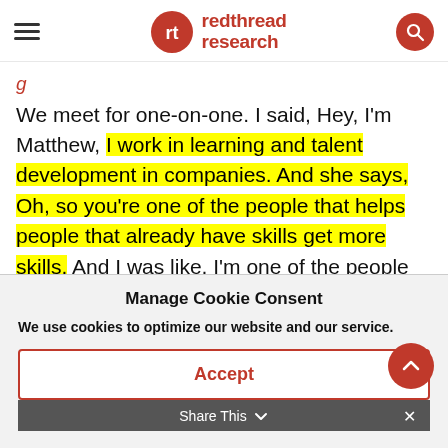redthread research
We meet for one-on-one. I said, Hey, I'm Matthew, I work in learning and talent development in companies. And she says, Oh, so you're one of the people that helps people that already have skills get more skills. And I was like, I'm one of the people who takes
Manage Cookie Consent
We use cookies to optimize our website and our service.
Accept
Share This